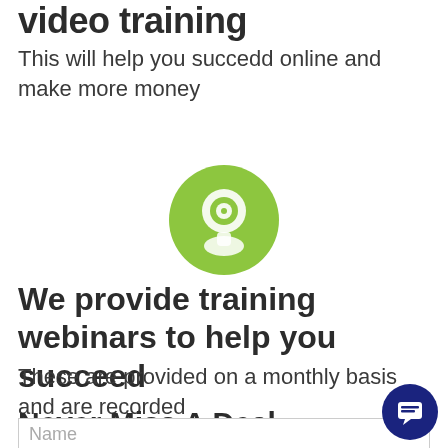video training
This will help you succedd online and make more money
[Figure (illustration): Green circular webcam icon with camera lens and base]
We provide training webinars to help you succeed
These are provided on a monthly basis and are recorded
Never Miss A Deal
Name